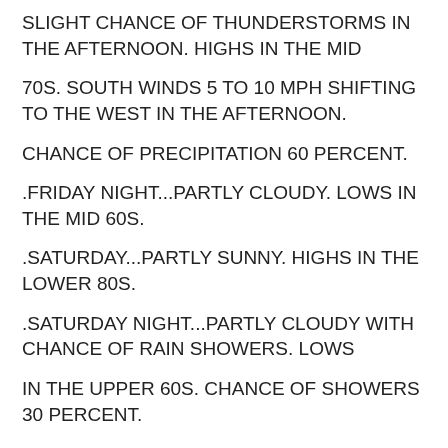SLIGHT CHANCE OF THUNDERSTORMS IN THE AFTERNOON. HIGHS IN THE MID
70S. SOUTH WINDS 5 TO 10 MPH SHIFTING TO THE WEST IN THE AFTERNOON.
CHANCE OF PRECIPITATION 60 PERCENT.
.FRIDAY NIGHT...PARTLY CLOUDY. LOWS IN THE MID 60S.
.SATURDAY...PARTLY SUNNY. HIGHS IN THE LOWER 80S.
.SATURDAY NIGHT...PARTLY CLOUDY WITH CHANCE OF RAIN SHOWERS. LOWS
IN THE UPPER 60S. CHANCE OF SHOWERS 30 PERCENT.